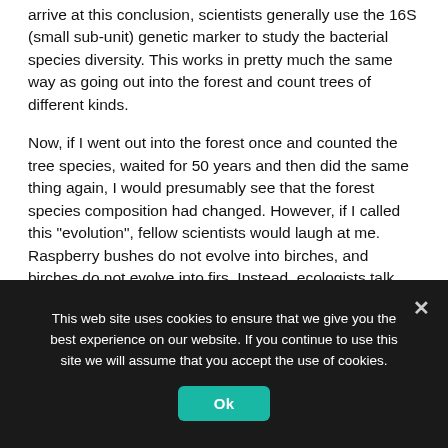arrive at this conclusion, scientists generally use the 16S (small sub-unit) genetic marker to study the bacterial species diversity. This works in pretty much the same way as going out into the forest and count trees of different kinds.
Now, if I went out into the forest once and counted the tree species, waited for 50 years and then did the same thing again, I would presumably see that the forest species composition had changed. However, if I called this "evolution", fellow scientists would laugh at me. Raspberry bushes do not evolve into birches, and birches do not evolve into firs. Instead, ecologists talk about "succession"; a progressive transformation of a community, going on until a stable community is formed. The concept of succession seems well-suited also to describe what is happening in the human gut, and should of course also be used in that setting. The most
This web site uses cookies to ensure that we give you the best experience on our website. If you continue to use this site we will assume that you accept the use of cookies.